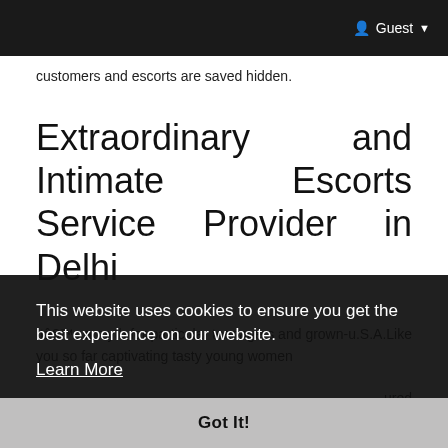Guest ▾
customers and escorts are saved hidden.
Extraordinary and Intimate Escorts Service Provider in Delhi
It's a myth for particular teenagers and grown-u.S.A.Like you so far captivating tasty young women [partially obscured by cookie banner] ...ured ...that ...nary ...are ...mits ...able ...ated ...ook your self with our overwhelming women and plan for
This website uses cookies to ensure you get the best experience on our website. Learn More
Got It!